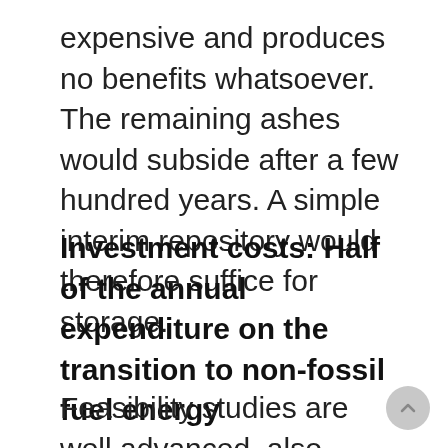expensive and produces no benefits whatsoever. The remaining ashes would subside after a few hundred years. A simple interim repository would therefore suffice for storage.
Investment costs: Half of the annual expenditure on the transition to non-fossil fuel energy
Feasibility studies are well advanced, also thanks to academic